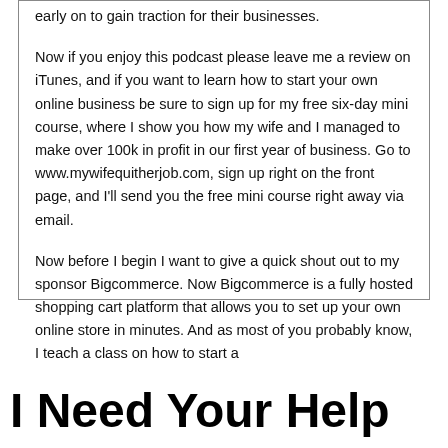early on to gain traction for their businesses.
Now if you enjoy this podcast please leave me a review on iTunes, and if you want to learn how to start your own online business be sure to sign up for my free six-day mini course, where I show you how my wife and I managed to make over 100k in profit in our first year of business. Go to www.mywifequitherjob.com, sign up right on the front page, and I'll send you the free mini course right away via email.
Now before I begin I want to give a quick shout out to my sponsor Bigcommerce. Now Bigcommerce is a fully hosted shopping cart platform that allows you to set up your own online store in minutes. And as most of you probably know, I teach a class on how to start a
I Need Your Help